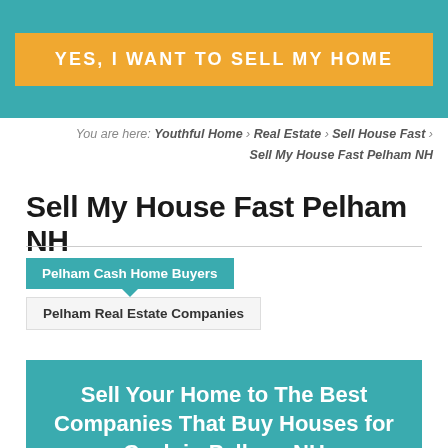[Figure (other): Teal header banner with orange CTA button reading 'YES, I WANT TO SELL MY HOME']
You are here: Youthful Home › Real Estate › Sell House Fast › Sell My House Fast Pelham NH
Sell My House Fast Pelham NH
Pelham Cash Home Buyers
Pelham Real Estate Companies
Sell Your Home to The Best Companies That Buy Houses for Cash in Pelham NH